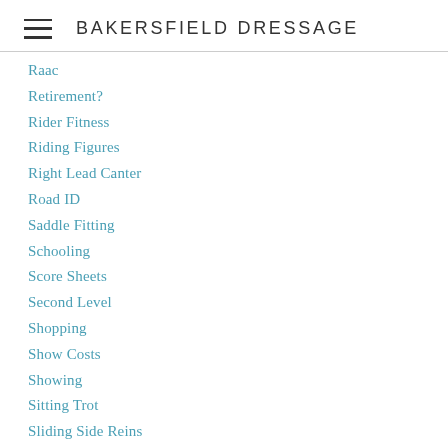BAKERSFIELD DRESSAGE
Raac
Retirement?
Rider Fitness
Riding Figures
Right Lead Canter
Road ID
Saddle Fitting
Schooling
Score Sheets
Second Level
Shopping
Show Costs
Showing
Sitting Trot
Sliding Side Reins
Soldier
Speedy's Leg